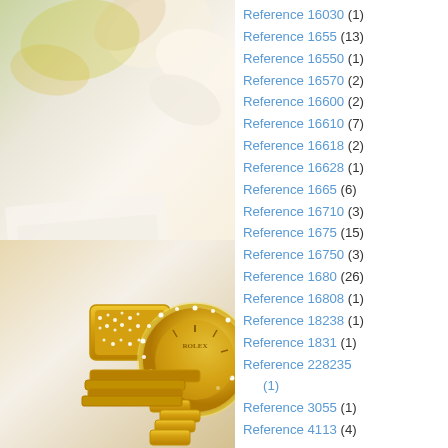[Figure (photo): Close-up photograph of a luxury gold Rolex watch encrusted with diamonds, with flowers and papers in the background.]
Reference 16030 (1)
Reference 1655 (13)
Reference 16550 (1)
Reference 16570 (2)
Reference 16600 (2)
Reference 16610 (7)
Reference 16618 (2)
Reference 16628 (1)
Reference 1665 (6)
Reference 16710 (3)
Reference 1675 (15)
Reference 16750 (3)
Reference 1680 (26)
Reference 16808 (1)
Reference 18238 (1)
Reference 1831 (1)
Reference 228235 (1)
Reference 3055 (1)
Reference 4113 (4)